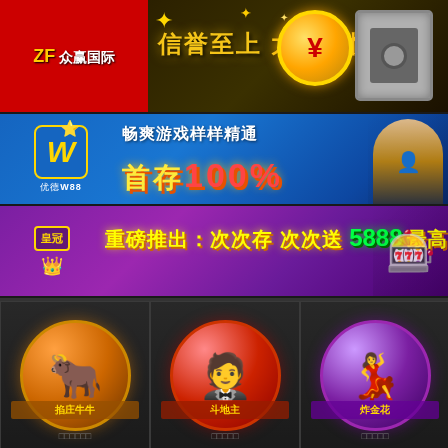[Figure (illustration): Banner for 众赢国际 (ZF众赢国际) with red logo area, gold slogan 信誉至上 大额无忧 (Reputation first, no worries for large amounts), gold coin and safe box decorations on dark gold background]
[Figure (illustration): Banner for 优德W88 with blue background, W logo in gold, text 畅爽游戏样样精通 首存100% (Enjoy all games, first deposit 100% bonus), character on right]
[Figure (illustration): Purple banner with logo 皇冠 (crown), yellow text 重磅推出：次次存 次次送 5888最高！ (Major launch: Every deposit, every bonus, up to 5888!)]
[Figure (illustration): Game card for 掐庄牛牛 (Pinch the Banker Baccarat) with cartoon bull character icon on dark background]
[Figure (illustration): Game card for 斗地主 (Fight the Landlord) with cartoon wealthy man character icon on dark background]
[Figure (illustration): Game card for 炸金花 (Blooming Gold Flowers) with beautiful woman holding cards on purple background]
□□□□□□
□□□□□
□□□□□